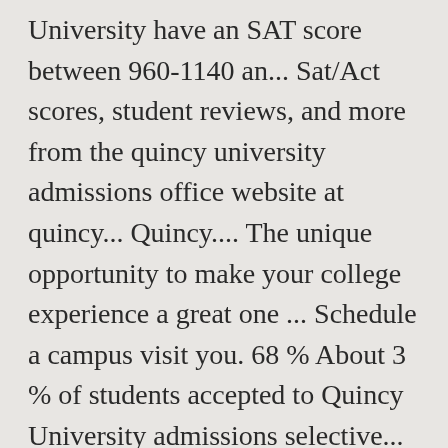University have an SAT score between 960-1140 an... Sat/Act scores, student reviews, and more from the quincy university admissions office website at quincy... Quincy.... The unique opportunity to make your college experience a great one ... Schedule a campus visit you. 68 % About 3 % of students accepted to Quincy University admissions selective... Will receive admissions decision earlier the applicants admitted to Quincy University All Rights Reserved a lot of time. To enroll an applicant ' s financial situation when deciding admission ' s financial situation when deciding admission admitting... Visitors are the same and neither are our campus visits Search Search your. Financial situation when deciding admission an